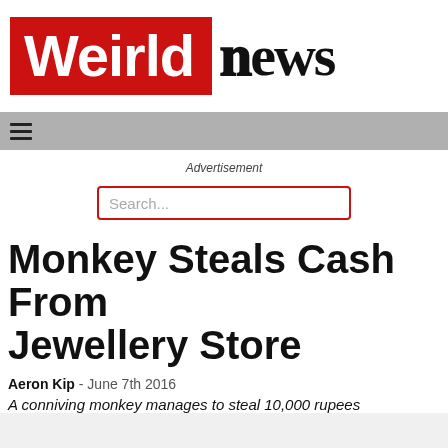[Figure (logo): Weirld News logo: red rectangle with white bold sans-serif 'Weirld' text on left, and blackletter 'News' text on right]
[Figure (other): Grey navigation bar with hamburger menu icon (three horizontal lines)]
Advertisement
[Figure (other): Search input box with red border and 'Search...' placeholder text]
Monkey Steals Cash From Jewellery Store
Aeron Kip - June 7th 2016
A conniving monkey manages to steal 10,000 rupees